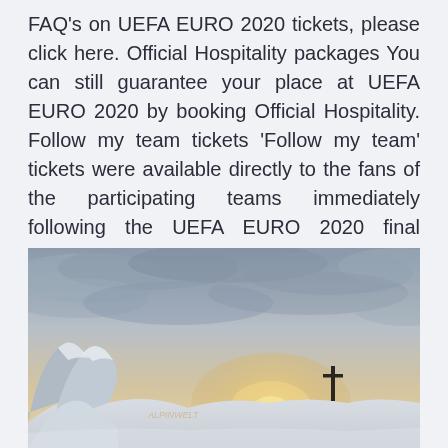FAQ's on UEFA EURO 2020 tickets, please click here. Official Hospitality packages You can still guarantee your place at UEFA EURO 2020 by booking Official Hospitality. Follow my team tickets 'Follow my team' tickets were available directly to the fans of the participating teams immediately following the UEFA EURO 2020 final tournament draw which took place in November 2019.
[Figure (photo): A dramatic winter alpine landscape photograph showing a snow-covered mountain ridge under a golden, cloudy sky at sunset or sunrise. A dark wooden cross or signpost silhouette stands on the snowy ridge to the right of center. Rocky, snow-capped mountain peaks are visible in the lower left. The image has a warm golden glow near the horizon contrasting with cool grey-blue clouds above.]